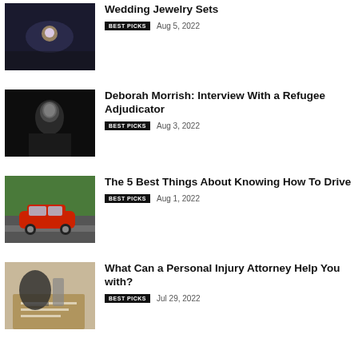[Figure (photo): Wedding jewelry ring on dark background]
Wedding Jewelry Sets
BEST PICKS   Aug 5, 2022
[Figure (photo): Black and white portrait photo of a woman in business attire]
Deborah Morrish: Interview With a Refugee Adjudicator
BEST PICKS   Aug 3, 2022
[Figure (photo): Red car driving on a road with autumn trees]
The 5 Best Things About Knowing How To Drive
BEST PICKS   Aug 1, 2022
[Figure (photo): Person writing on paper at a desk with a gavel]
What Can a Personal Injury Attorney Help You with?
BEST PICKS   Jul 29, 2022